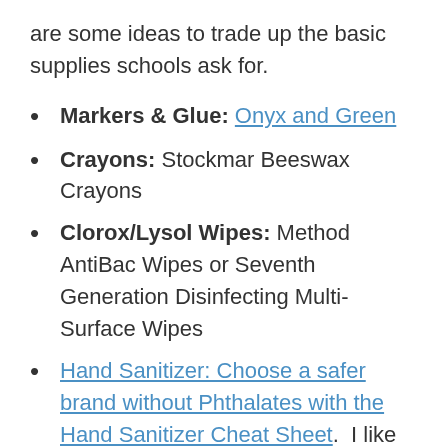are some ideas to trade up the basic supplies schools ask for.
Markers & Glue: Onyx and Green
Crayons: Stockmar Beeswax Crayons
Clorox/Lysol Wipes: Method AntiBac Wipes or Seventh Generation Disinfecting Multi-Surface Wipes
Hand Sanitizer: Choose a safer brand without Phthalates with the Hand Sanitizer Cheat Sheet. I like to donate bottles of CleanWell sanitizer and hand soap at the start of the year.
Nap Mats: Wildkin Nap Mats – No flame